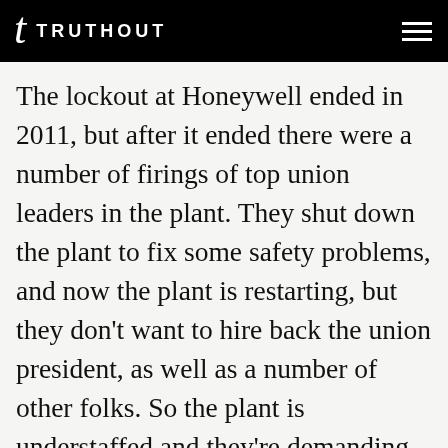t TRUTHOUT
The lockout at Honeywell ended in 2011, but after it ended there were a number of firings of top union leaders in the plant. They shut down the plant to fix some safety problems, and now the plant is restarting, but they don't want to hire back the union president, as well as a number of other folks. So the plant is understaffed and they're demanding people work overtime. And currently, the union is refusing to work overtime, so in response, Honeywell has cancelled summer vacations for